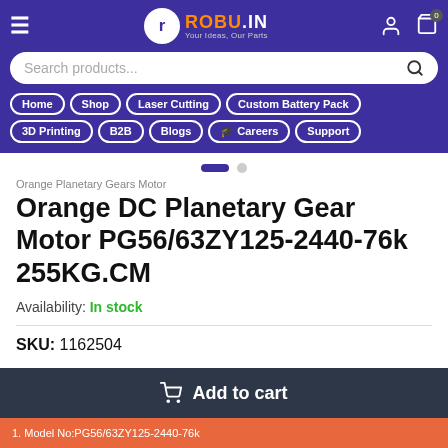ROBU.IN — Your Ideas, Our Parts — Navigation: Home, Shop, Laser Cutting, Custom Battery Pack, 3D Printing, B2B, Blogs, Careers, Support
Orange Planetary Gears Motor
Orange DC Planetary Gear Motor PG56/63ZY125-2440-76k 255KG.CM
Availability: In stock
SKU: 1162504
Add to cart
1. Model No:PG56/63ZY125-2440-76k